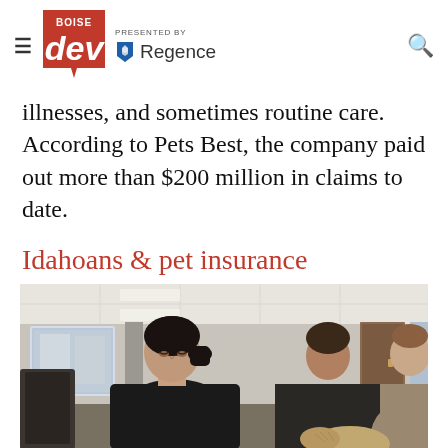Boise Dev — PRESENTED BY Regence
illnesses, and sometimes routine care. According to Pets Best, the company paid out more than $200 million in claims to date.
Idahoans & pet insurance
[Figure (photo): People sitting in what appears to be a waiting room or office meeting. A woman with dark hair in a bun wearing a black top is in the foreground looking down. Behind her are two men, one in a dark jacket and another in a lighter shirt.]